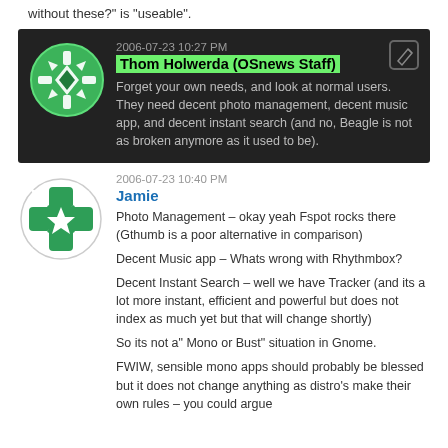without these?" is "useable".
[Figure (screenshot): Dark-background comment block with green avatar (OSnews logo) on left. Timestamp: 2006-07-23 10:27 PM. Author: Thom Holwerda (OSnews Staff) highlighted in green. Text: Forget your own needs, and look at normal users. They need decent photo management, decent music app, and decent instant search (and no, Beagle is not as broken anymore as it used to be).]
[Figure (screenshot): Light comment block with green avatar (OSnews logo style) in circle on left. Timestamp: 2006-07-23 10:40 PM. Author: Jamie in blue. Multiple paragraphs of text about Photo Management (Fspot), Music app (Rhythmbox), Instant Search (Tracker), Mono or Bust in Gnome, FWIW sensible mono apps.]